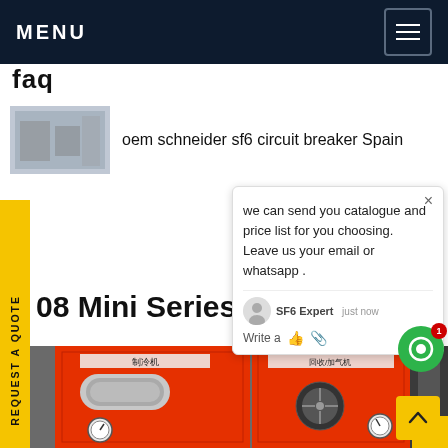MENU
faq
oem schneider sf6 circuit breaker Spain
we can send you catalogue and price list for you choosing.
Leave us your email or whatsapp .
SF6 Expert   just now
Write a
08 Mini Series mo...
[Figure (photo): Industrial SF6 gas equipment / mini series machines in red casing with Chinese text labels, showing refrigeration and gas-filling units with gauges and components]